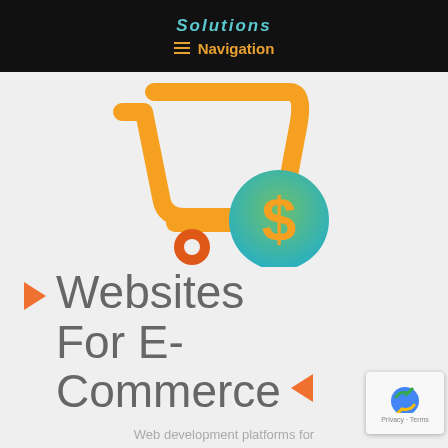Solutions  ≡ Navigation
[Figure (illustration): Orange shopping cart icon with a green-to-teal gradient circle containing a gold dollar sign, on a light gray background]
▶ Websites For E-Commerce ◀
Web development platforms for